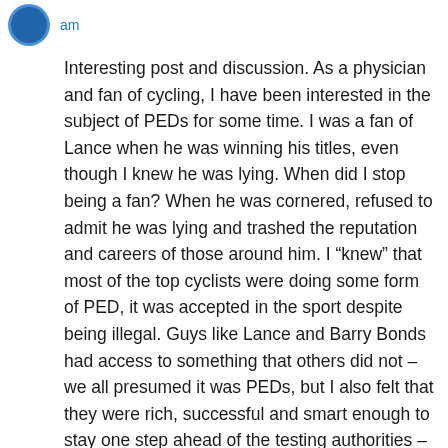am
Interesting post and discussion. As a physician and fan of cycling, I have been interested in the subject of PEDs for some time. I was a fan of Lance when he was winning his titles, even though I knew he was lying. When did I stop being a fan? When he was cornered, refused to admit he was lying and trashed the reputation and careers of those around him. I “knew” that most of the top cyclists were doing some form of PED, it was accepted in the sport despite being illegal. Guys like Lance and Barry Bonds had access to something that others did not – we all presumed it was PEDs, but I also felt that they were rich, successful and smart enough to stay one step ahead of the testing authorities – never